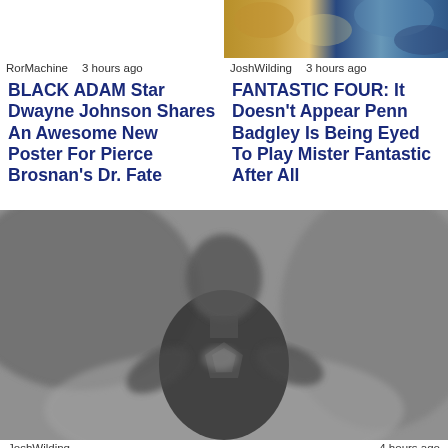[Figure (photo): Thumbnail image strip with colorful tones for Fantastic Four article, top right]
RorMachine    3 hours ago
JoshWilding    3 hours ago
BLACK ADAM Star Dwayne Johnson Shares An Awesome New Poster For Pierce Brosnan's Dr. Fate
FANTASTIC FOUR: It Doesn't Appear Penn Badgley Is Being Eyed To Play Mister Fantastic After All
[Figure (photo): Black and white photo of a person wearing a Superman t-shirt, looking upward, with blurred background]
JoshWilding    4 hours ago